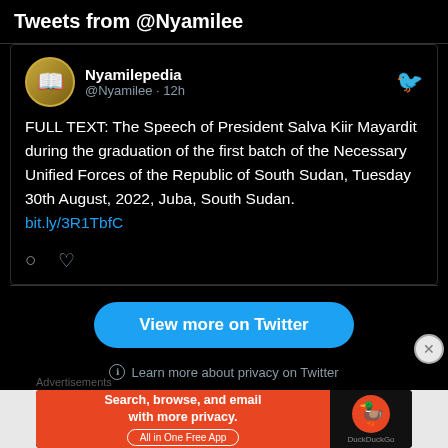Tweets from @Nyamilee
Nyamilepedia @Nyamilee · 12h
FULL TEXT: The Speech of President Salva Kiir Mayardit during the graduation of the first batch of the Necessary Unified Forces of the Republic of South Sudan, Tuesday 30th August, 2022, Juba, South Sudan. bit.ly/3R1TbfC
[Figure (screenshot): View more on Twitter button - blue rounded button]
Learn more about privacy on Twitter
Advertisements
[Figure (screenshot): DuckDuckGo advertisement banner - Search, browse, and email with more privacy. All in One Free App]